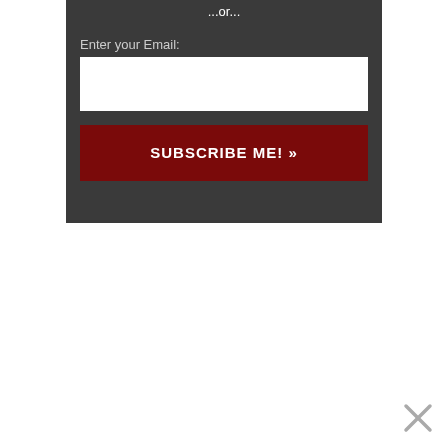...or...
Enter your Email:
SUBSCRIBE ME! »
[Figure (other): Close/dismiss X button in gray]